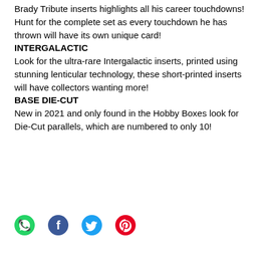Brady Tribute inserts highlights all his career touchdowns! Hunt for the complete set as every touchdown he has thrown will have its own unique card!
INTERGALACTIC
Look for the ultra-rare Intergalactic inserts, printed using stunning lenticular technology, these short-printed inserts will have collectors wanting more!
BASE DIE-CUT
New in 2021 and only found in the Hobby Boxes look for Die-Cut parallels, which are numbered to only 10!
[Figure (infographic): Social sharing icons: WhatsApp (green), Facebook (dark), Twitter (blue), Pinterest (red/pink)]